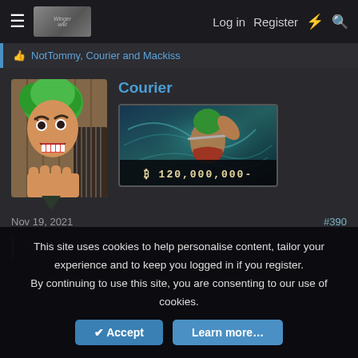☰  [site logo]  Log in  Register  ⚡  🔍
👍 NotTommy, Courier and Mackiss
Courier
[Figure (illustration): Anime character with green hair (Roronoa Zoro from One Piece) making a face, avatar image]
[Figure (illustration): Anime character with green hair in action pose with bounty amount ₿ 120,000,000-]
₿ 120,000,000-
Nov 19, 2021
#390
DarkWitch said: ↩
This site uses cookies to help personalise content, tailor your experience and to keep you logged in if you register.
By continuing to use this site, you are consenting to our use of cookies.
✔ Accept   Learn more…